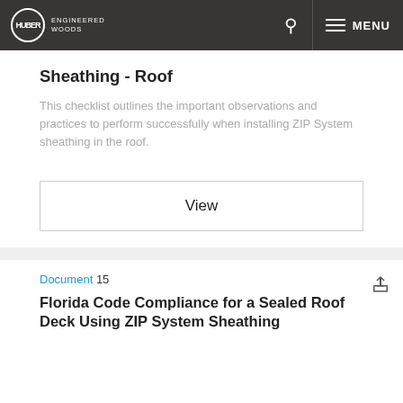HUBER ENGINEERED WOODS — Navigation bar with search and menu
Sheathing - Roof
This checklist outlines the important observations and practices to perform successfully when installing ZIP System sheathing in the roof.
View
Document 15
Florida Code Compliance for a Sealed Roof Deck Using ZIP System Sheathing